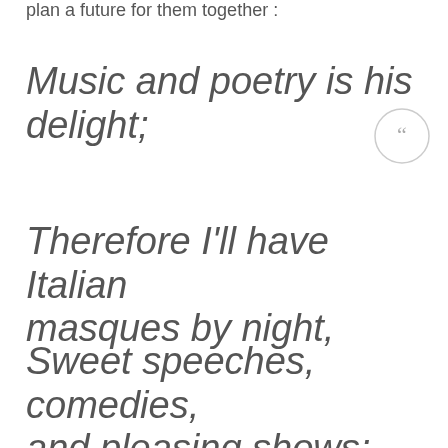plan a future for them together :
Music and poetry is his delight;
Therefore I'll have Italian masques by night,
Sweet speeches, comedies, and pleasing shows;